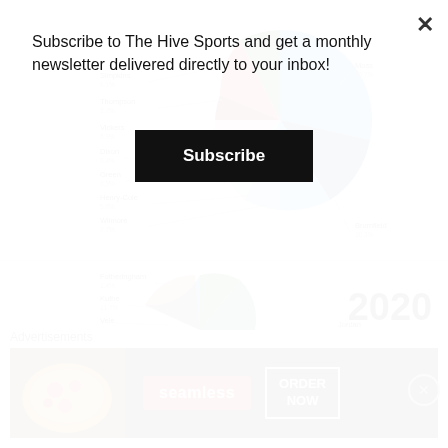Subscribe to The Hive Sports and get a monthly newsletter delivered directly to your inbox!
Subscribe
[Figure (pie-chart): ]
[Figure (pie-chart): 2020]
Advertisements
[Figure (other): Seamless food delivery advertisement banner with pizza image, red Seamless logo, and ORDER NOW button]